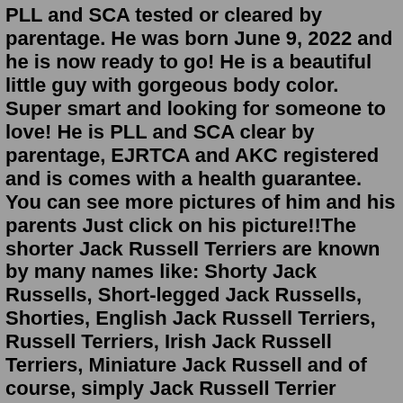PLL and SCA tested or cleared by parentage. He was born June 9, 2022 and he is now ready to go! He is a beautiful little guy with gorgeous body color. Super smart and looking for someone to love! He is PLL and SCA clear by parentage, EJRTCA and AKC registered and is comes with a health guarantee. You can see more pictures of him and his parents Just click on his picture!!The shorter Jack Russell Terriers are known by many names like: Shorty Jack Russells, Short-legged Jack Russells, Shorties, English Jack Russell Terriers, Russell Terriers, Irish Jack Russell Terriers, Miniature Jack Russell and of course, simply Jack Russell Terrier puppies. Home of the "Shorty" Jack Russell Terriers Spotswood Jacks, Smooth coat, broken coat rough coat, puppiesShortie jack russell pic hide this posting restore restore this posting. favorite this post Aug 9 Jack Russell pup ( m) ... JACK RUSSELL & GREAT PYRENEES PUPS (crp > Mathis) pic hide this posting restore restore this posting. favorite this post Aug 9 He's Gone! Yorkie and Jack Russell maleHere at Hobbit Hill we